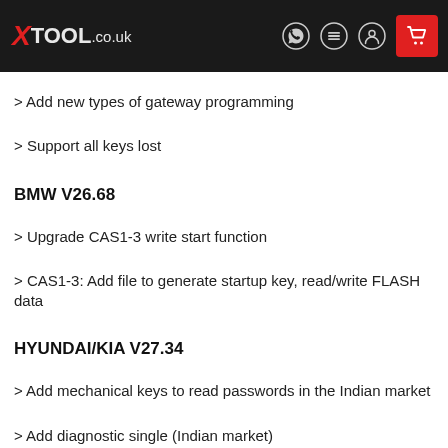XTOOL.co.uk
> Add new types of gateway programming
> Support all keys lost
BMW V26.68
> Upgrade CAS1-3 write start function
> CAS1-3: Add file to generate startup key, read/write FLASH data
HYUNDAI/KIA V27.34
> Add mechanical keys to read passwords in the Indian market
> Add diagnostic single (Indian market)